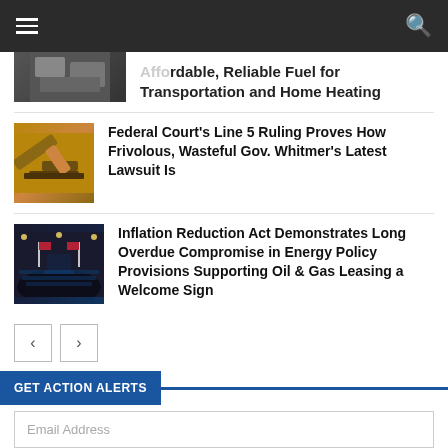Affordable, Reliable Fuel for Transportation and Home Heating
Federal Court's Line 5 Ruling Proves How Frivolous, Wasteful Gov. Whitmer's Latest Lawsuit Is
Inflation Reduction Act Demonstrates Long Overdue Compromise in Energy Policy Provisions Supporting Oil & Gas Leasing a Welcome Sign
GET ACTION ALERTS
Email Address